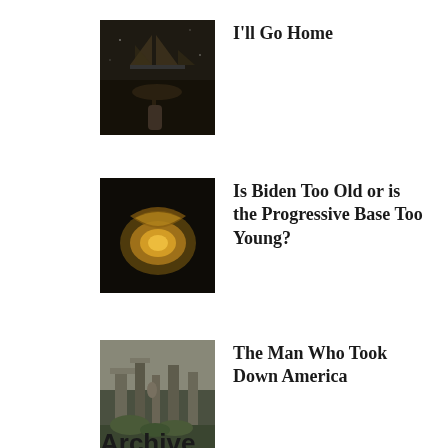[Figure (photo): Dark photograph of a ship model held up against a dark background]
I'll Go Home
[Figure (photo): Dark photograph of a golden gramophone or horn-shaped object]
Is Biden Too Old or is the Progressive Base Too Young?
[Figure (photo): Photograph of stone ruins or temple structures with greenery]
The Man Who Took Down America
Archive